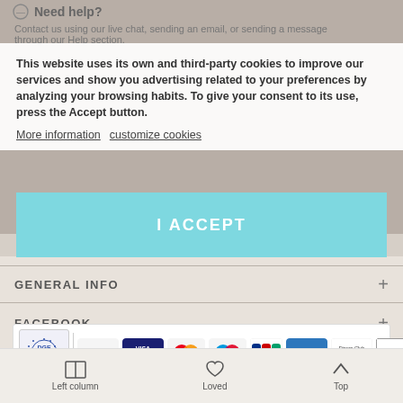Need help?
Contact us using our live chat, sending an email, or sending a message through our Help section.
This website uses its own and third-party cookies to improve our services and show you advertising related to your preferences by analyzing your browsing habits. To give your consent to its use, press the Accept button.
More information  customize cookies
I ACCEPT
GENERAL INFO
FACEBOOK
[Figure (logo): Payment method logos: DGE Data badge, VISA, VISA Electron, Mastercard, Maestro, JCB, American Express, Diners Club International, PayPal]
© 2013-2018 Lila & Roots Company S.L.- LILAGOESGREEN. All Rights Reserved
Left column  Loved  Top